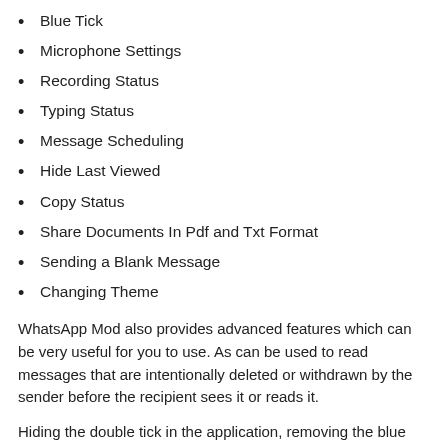Blue Tick
Microphone Settings
Recording Status
Typing Status
Message Scheduling
Hide Last Viewed
Copy Status
Share Documents In Pdf and Txt Format
Sending a Blank Message
Changing Theme
WhatsApp Mod also provides advanced features which can be very useful for you to use. As can be used to read messages that are intentionally deleted or withdrawn by the sender before the recipient sees it or reads it.
Hiding the double tick in the application, removing the blue ticks or blue ticks you can do easily by using the GB